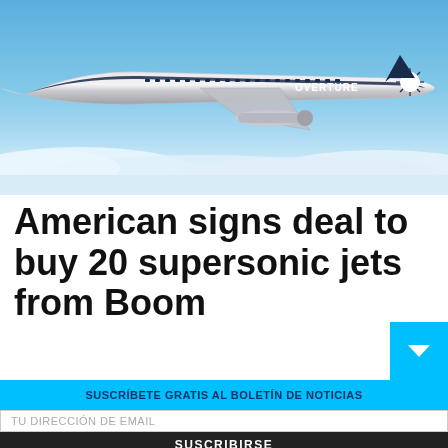[Figure (photo): Boom Overture supersonic jet aircraft flying above clouds with blue sky background. The white and dark blue aircraft has 'OVERTURE' written on its fuselage.]
American signs deal to buy 20 supersonic jets from Boom
SUSCRÍBETE GRATIS AL BOLETÍN DE NOTICIAS
TU DIRECCIÓN DE EMAIL
SUSCRIBIRSE